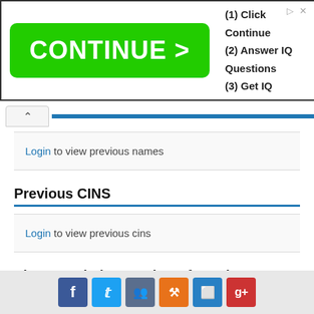[Figure (screenshot): Advertisement banner with green 'CONTINUE >' button and text '(1) Click Continue (2) Answer IQ Questions (3) Get IQ']
Login to view previous names
Previous CINS
Login to view previous cins
Share Capital & Number of Employees
[Figure (infographic): Social media footer icons: Facebook, Twitter, LinkedIn, StumbleUpon, Delicious, Google+]